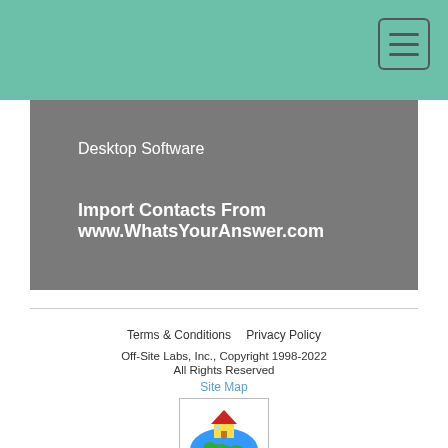Desktop Software
Import Contacts From www.WhatsYourAnswer.com
Terms & Conditions   Privacy Policy
Off-Site Labs, Inc., Copyright 1998-2022
All Rights Reserved
Site Map
[Figure (illustration): Globe with a house on top illustration]
448x448